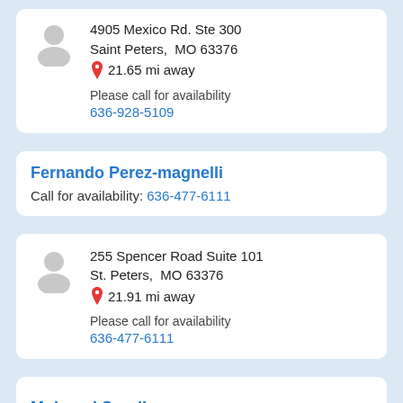[Figure (illustration): Gray generic person/avatar icon]
4905 Mexico Rd. Ste 300
Saint Peters,  MO 63376
21.65 mi away
Please call for availability
636-928-5109
Fernando Perez-magnelli
Call for availability: 636-477-6111
[Figure (illustration): Gray generic person/avatar icon]
255 Spencer Road Suite 101
St. Peters,  MO 63376
21.91 mi away
Please call for availability
636-477-6111
Mohmad Soreji